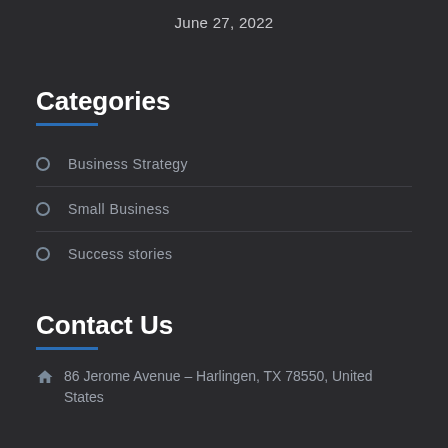June 27, 2022
Categories
Business Strategy
Small Business
Success stories
Contact Us
86 Jerome Avenue – Harlingen, TX 78550, United States